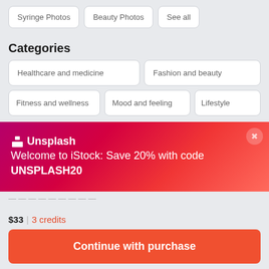Syringe Photos
Beauty Photos
See all
Categories
Healthcare and medicine
Fashion and beauty
Fitness and wellness
Mood and feeling
Lifestyle
[Figure (screenshot): Unsplash promotional banner with magenta/red gradient background. Text reads: Unsplash Welcome to iStock: Save 20% with code UNSPLASH20. Close button (X) in top right.]
$33 | 3 credits
Continue with purchase